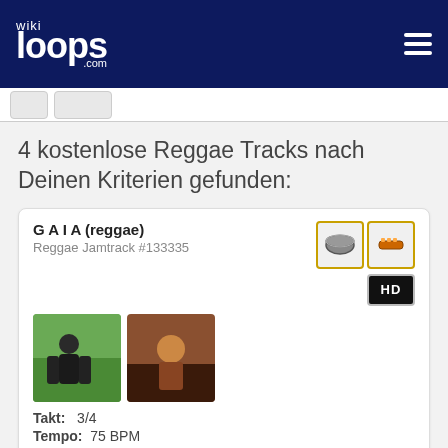wikiloops.com
4 kostenlose Reggae Tracks nach Deinen Kriterien gefunden:
G A I A (reggae)
Reggae Jamtrack #133335
Takt: 3/4
Tempo: 75 BPM
wikiloops.com verwendet Cookies um Dir die beste Nutzererfahrung zu ermöglichen. Lies mehr in unseren Datenschutzbestimmungen .